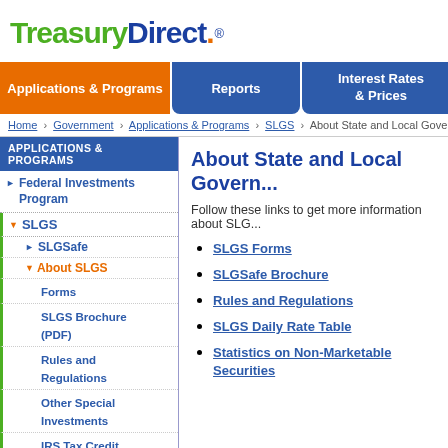TreasuryDirect
Applications & Programs | Reports | Interest Rates & Prices
Home › Government › Applications & Programs › SLGS › About State and Local Governme...
APPLICATIONS & PROGRAMS
Federal Investments Program
SLGS
SLGSafe
About SLGS
Forms
SLGS Brochure (PDF)
Rules and Regulations
Other Special Investments
IRS Tax Credit Bonds
Funds Management Program
Treasury Managed Accounts
Federal Borrowings
About State and Local Govern...
Follow these links to get more information about SLG...
SLGS Forms
SLGSafe Brochure
Rules and Regulations
SLGS Daily Rate Table
Statistics on Non-Marketable Securities